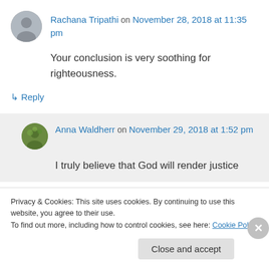[Figure (photo): Small circular avatar photo of Rachana Tripathi]
Rachana Tripathi on November 28, 2018 at 11:35 pm
Your conclusion is very soothing for righteousness.
↳ Reply
[Figure (photo): Small circular avatar photo of Anna Waldherr]
Anna Waldherr on November 29, 2018 at 1:52 pm
I truly believe that God will render justice
Privacy & Cookies: This site uses cookies. By continuing to use this website, you agree to their use.
To find out more, including how to control cookies, see here: Cookie Policy
Close and accept